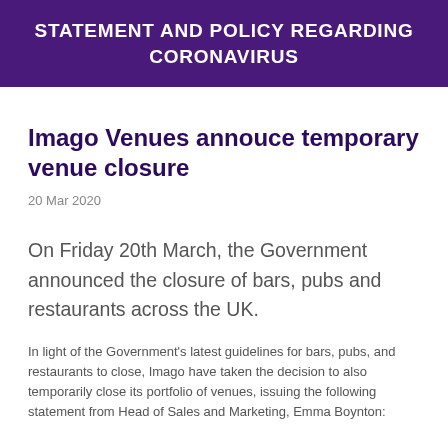STATEMENT AND POLICY REGARDING CORONAVIRUS
Imago Venues annouce temporary venue closure
20 Mar 2020
On Friday 20th March, the Government announced the closure of bars, pubs and restaurants across the UK.
In light of the Government's latest guidelines for bars, pubs, and restaurants to close, Imago have taken the decision to also temporarily close its portfolio of venues, issuing the following statement from Head of Sales and Marketing, Emma Boynton: